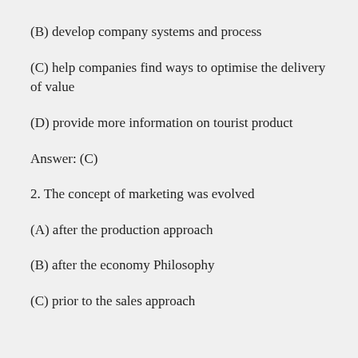(B) develop company systems and process
(C) help companies find ways to optimise the delivery of value
(D) provide more information on tourist product
Answer: (C)
2. The concept of marketing was evolved
(A) after the production approach
(B) after the economy Philosophy
(C) prior to the sales approach